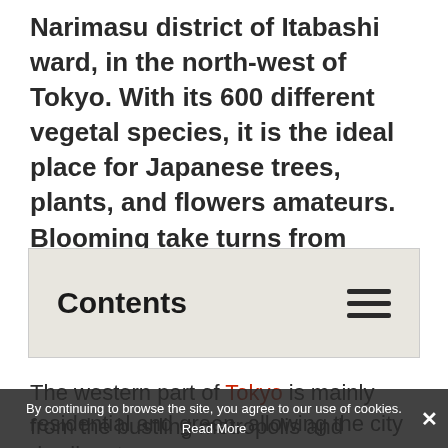Narimasu district of Itabashi ward, in the north-west of Tokyo. With its 600 different vegetal species, it is the ideal place for Japanese trees, plants, and flowers amateurs. Blooming take turns from spring to autumn to enliven the visit.
Contents
The western part of Tokyo is mainly residential and green, allowing the city dwellers to escape from the bustling metropolis and reconnect with nature. In addition to Tokyo's Great Buddha in
By continuing to browse the site, you agree to our use of cookies. Read More